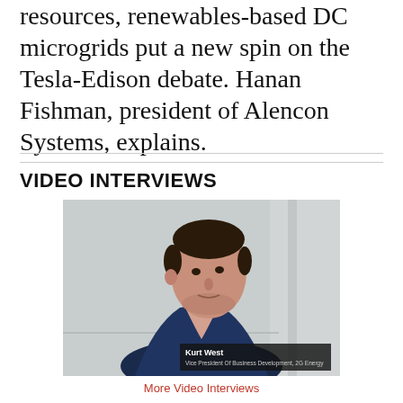resources, renewables-based DC microgrids put a new spin on the Tesla-Edison debate. Hanan Fishman, president of Alencon Systems, explains.
VIDEO INTERVIEWS
[Figure (photo): Video interview thumbnail showing a man in a navy blazer and pink shirt speaking, with a lower-third name bar reading 'Kurt West, Vice President Of Business Development, 2G Energy']
More Video Interviews